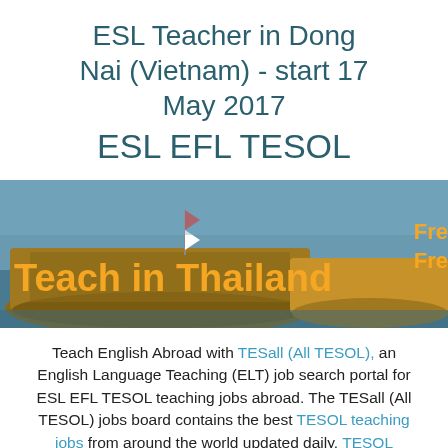ESL Teacher in Dong Nai (Vietnam) - start 17 May 2017
ESL EFL TESOL
[Figure (photo): Banner image showing wooden boats with text 'Teach in Thailand' in orange, with partially visible text 'Fre Fre' on the right side]
Teach English Abroad with TESall (All TESOL), an English Language Teaching (ELT) job search portal for ESL EFL TESOL teaching jobs abroad. The TESall (All TESOL) jobs board contains the best TESOL teaching jobs from around the world updated daily. TESOL teacher training courses are available throughout the world to get you started on your TESOL teaching adventure! You can also find information on ESL EFL TESOL teachers, resumes, teacher discussions, articles, resources and more! The result is a one-stop